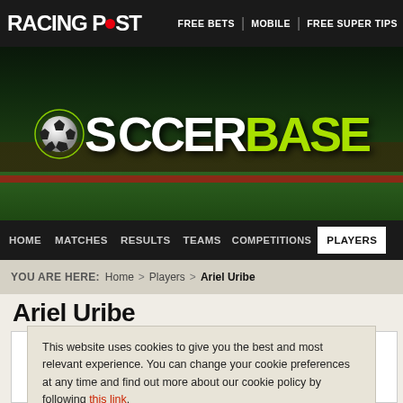RACING POST | FREE BETS | MOBILE | FREE SUPER TIPS
[Figure (screenshot): SOCCERBASE logo on dark stadium background with soccer ball graphic]
HOME | MATCHES | RESULTS | TEAMS | COMPETITIONS | PLAYERS
YOU ARE HERE: Home > Players > Ariel Uribe
Ariel Uribe
This website uses cookies to give you the best and most relevant experience. You can change your cookie preferences at any time and find out more about our cookie policy by following this link.

By continuing to use this site you are giving consent to our use of cookies on Racing Post websites in accordance with our cookie policy.

Close